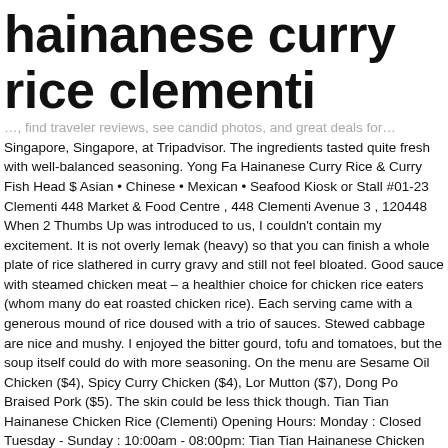hainanese curry rice clementi
…, find traveler reviews, see candid photos, and great deals for Singapore, Singapore, at Tripadvisor. The ingredients tasted quite fresh with well-balanced seasoning. Yong Fa Hainanese Curry Rice & Curry Fish Head $ Asian • Chinese • Mexican • Seafood Kiosk or Stall #01-23 Clementi 448 Market & Food Centre , 448 Clementi Avenue 3 , 120448 When 2 Thumbs Up was introduced to us, I couldn't contain my excitement. It is not overly lemak (heavy) so that you can finish a whole plate of rice slathered in curry gravy and still not feel bloated. Good sauce with steamed chicken meat – a healthier choice for chicken rice eaters (whom many do eat roasted chicken rice). Each serving came with a generous mound of rice doused with a trio of sauces. Stewed cabbage are nice and mushy. I enjoyed the bitter gourd, tofu and tomatoes, but the soup itself could do with more seasoning. On the menu are Sesame Oil Chicken ($4), Spicy Curry Chicken ($4), Lor Mutton ($7), Dong Po Braised Pork ($5). The skin could be less thick though. Tian Tian Hainanese Chicken Rice (Clementi) Opening Hours: Monday : Closed Tuesday - Sunday : 10:00am - 08:00pm: Tian Tian Hainanese Chicken Rice (Clementi) Food Price : S$5 - S$10 per pax: